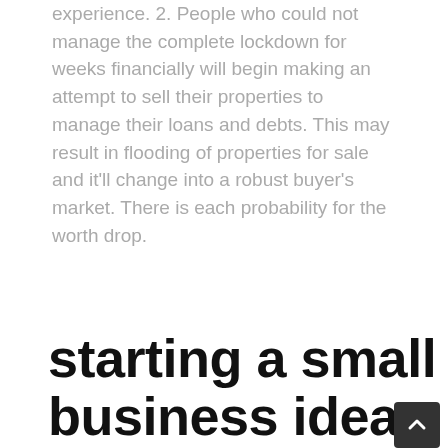experience. 2. People who could not manage the complete lockdown for weeks financially will begin making an attempt to sell their properties to manage their loans and debts. This may result in flooding of properties for sale and it'll change into a robust buyer's market. There is each probability for the worth drop.
starting a small business ideas uk
[Figure (photo): Photo of a Business Plan document with handwritten flowchart showing PRICE, REVENUE, UNITS, SOLD, PROFIT nodes with arrows, a pen lying on top, a wallet/notebook in background, and a calculator on the right.]